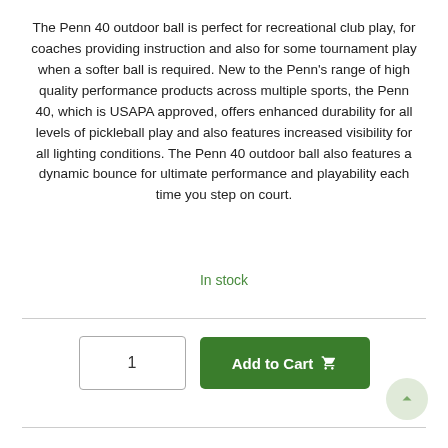The Penn 40 outdoor ball is perfect for recreational club play, for coaches providing instruction and also for some tournament play when a softer ball is required. New to the Penn's range of high quality performance products across multiple sports, the Penn 40, which is USAPA approved, offers enhanced durability for all levels of pickleball play and also features increased visibility for all lighting conditions. The Penn 40 outdoor ball also features a dynamic bounce for ultimate performance and playability each time you step on court.
In stock